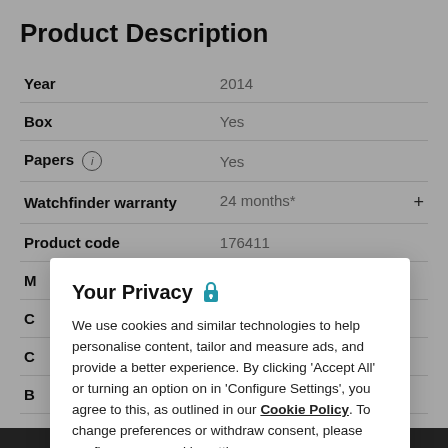Product Description
| Label | Value |
| --- | --- |
| Year | 2014 |
| Box | Yes |
| Papers (i) | Yes |
| Watchfinder warranty | 24 months* |
| Product code | 176411 |
Your Privacy
We use cookies and similar technologies to help personalise content, tailor and measure ads, and provide a better experience. By clicking ‘Accept All’ or turning an option on in ‘Configure Settings’, you agree to this, as outlined in our Cookie Policy. To change preferences or withdraw consent, please configure your cookie settings.
Configure Settings
Accept All